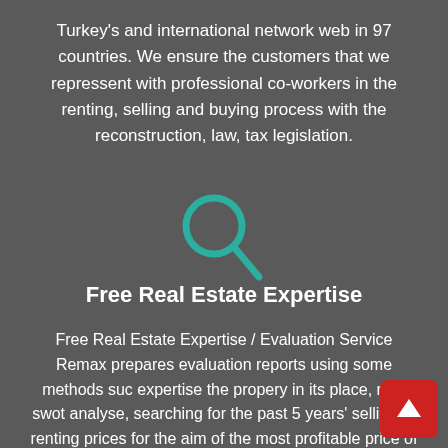Turkey's and international network web in 97 countries. We ensure the customers that we repressent with professional co-workers in the renting, selling and buying process with the reconstruction, law, tax legislation.
[Figure (illustration): Teal/green magnifying glass icon centered on the page]
Free Real Estate Expertise
Free Real Estate Expertise / Evaluation Service Remax prepares evaluation reports using some methods such as expertise the propery in its place, rival swot analyse, searching for the past 5 years' selling or renting prices for the aim of the most profitable price of your property.